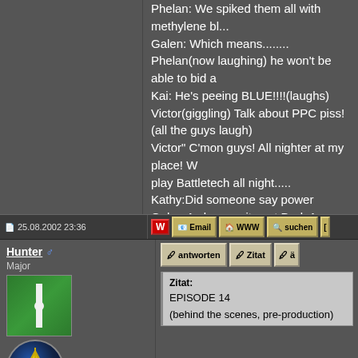Phelan: We spiked them all with methylene blue...
Galen: Which means........
Phelan(now laughing) he won't be able to bid a
Kai: He's peeing BLUE!!!!(laughs)
Victor(giggling) Talk about PPC piss!
(all the guys laugh)
Victor" C'mon guys! All nighter at my place! W play Battletech all night.....
Kathy:Did someone say power
Galen:As long as its not Dark Ages. That dial t
Phelan: Give it a chance Jerry, er I meant Gale
Galen: I'd rather enjoy the satisfying whoosh o turn that's all.
Phelan: Are you sure you aren't over Kathy?
Vlad: (popping out of nowhere)Who's all over

(cut to music)
25.08.2002 23:36
Hunter ♂
Major
antworten   Zitat   ä
Zitat:
EPISODE 14

(behind the scenes, pre-production)